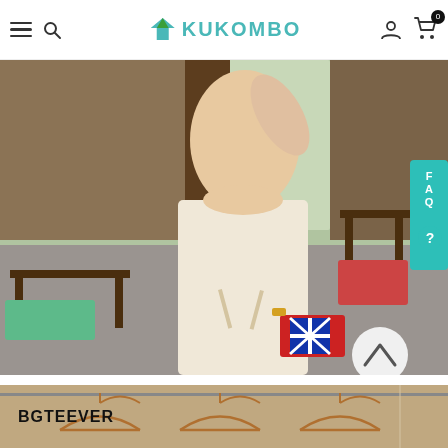Kukombo navigation bar with hamburger menu, search, logo, user account, and cart (0)
[Figure (photo): Woman wearing a beige/cream sleeveless wrap midi dress, holding a Union Jack clutch bag, standing in a cafe/restaurant interior setting with wooden furniture]
[Figure (photo): Bottom strip showing clothes hangers on a rail with BGTEEVER brand text label in bold black]